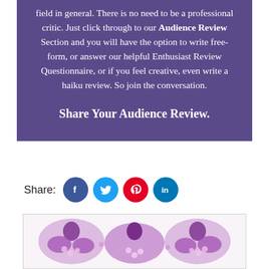field in general. There is no need to be a professional critic. Just click through to our Audience Review Section and you will have the option to write free-form, or answer our helpful Enthusiast Review Questionnaire, or if you feel creative, even write a haiku review. So join the conversation.

Share Your Audience Review.
Share:
[Figure (photo): A stylized purple-tinted photo showing two women with flowers, mirrored symmetrically.]